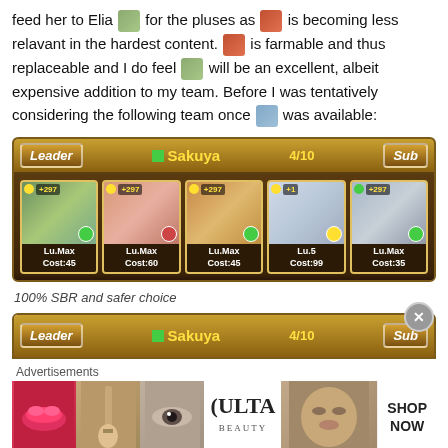feed her to Elia [icon] for the pluses as [icon] is becoming less relavant in the hardest content. [icon] is farmable and thus replaceable and I do feel [icon] will be an excellent, albeit expensive addition to my team. Before I was tentatively considering the following team once [icon] was available:
[Figure (screenshot): Game team composition screenshot showing Leader/Sakuya 4/10/Sub header with 5 character cards: Lu.Max Cost:45, Lu.Max Cost:60, Lu.Max Cost:45, Lu.5 Cost:99, Lu.Max Cost:35. Each card shows +297 or +1 bonus.]
100% SBR and safer choice
[Figure (screenshot): Partial game screenshot showing Leader/Sakuya 4/10/Sub header bar]
[Figure (screenshot): Advertisement banner showing Ulta beauty products with lips, makeup brush, eye, ULTA logo, face, and SHOP NOW button]